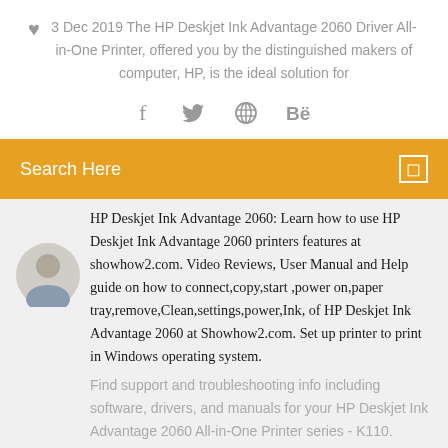3 Dec 2019 The HP Deskjet Ink Advantage 2060 Driver All-in-One Printer, offered you by the distinguished makers of computer, HP, is the ideal solution for
[Figure (illustration): Social media icons: Facebook (f), Twitter bird, a circle/globe icon, and Behance (Be)]
Search Here
HP Deskjet Ink Advantage 2060: Learn how to use HP Deskjet Ink Advantage 2060 printers features at showhow2.com. Video Reviews, User Manual and Help guide on how to connect,copy,start ,power on,paper tray,remove,Clean,settings,power,Ink, of HP Deskjet Ink Advantage 2060 at Showhow2.com. Set up printer to print in Windows operating system.
Find support and troubleshooting info including software, drivers, and manuals for your HP Deskjet Ink Advantage 2060 All-in-One Printer series - K110.